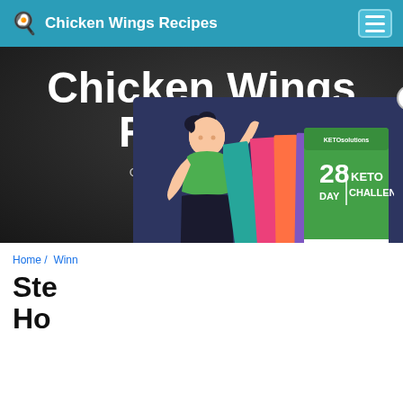Chicken Wings Recipes
Chicken Wings Recipes
Over ... popular re... de
[Figure (illustration): Popup advertisement showing a woman holding up books and a '28 Day Keto Challenge – Eating on Keto, Meal Plan & Tips for Curbing Cravings' book set, on a dark blue background with a close (X) button]
Home / ... Winn... Ste... Ho...
28 DAY | KETO CHALLENGE – EATING ON KETO Meal Plan & Tips for Curbing Cravings